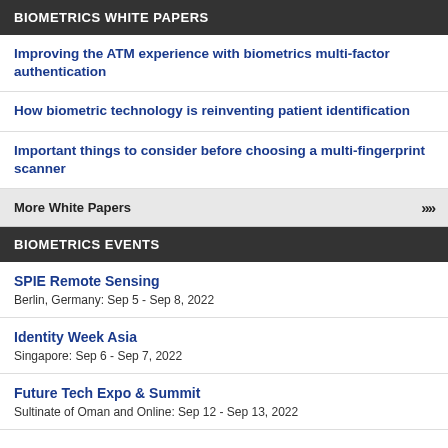BIOMETRICS WHITE PAPERS
Improving the ATM experience with biometrics multi-factor authentication
How biometric technology is reinventing patient identification
Important things to consider before choosing a multi-fingerprint scanner
More White Papers
BIOMETRICS EVENTS
SPIE Remote Sensing
Berlin, Germany: Sep 5 - Sep 8, 2022
Identity Week Asia
Singapore: Sep 6 - Sep 7, 2022
Future Tech Expo & Summit
Sultinate of Oman and Online: Sep 12 - Sep 13, 2022